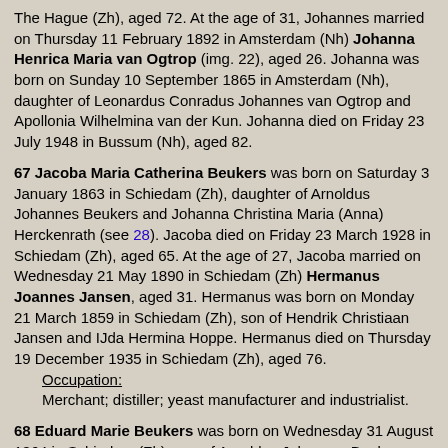The Hague (Zh), aged 72. At the age of 31, Johannes married on Thursday 11 February 1892 in Amsterdam (Nh) Johanna Henrica Maria van Ogtrop (img. 22), aged 26. Johanna was born on Sunday 10 September 1865 in Amsterdam (Nh), daughter of Leonardus Conradus Johannes van Ogtrop and Apollonia Wilhelmina van der Kun. Johanna died on Friday 23 July 1948 in Bussum (Nh), aged 82.
67 Jacoba Maria Catherina Beukers was born on Saturday 3 January 1863 in Schiedam (Zh), daughter of Arnoldus Johannes Beukers and Johanna Christina Maria (Anna) Herckenrath (see 28). Jacoba died on Friday 23 March 1928 in Schiedam (Zh), aged 65. At the age of 27, Jacoba married on Wednesday 21 May 1890 in Schiedam (Zh) Hermanus Joannes Jansen, aged 31. Hermanus was born on Monday 21 March 1859 in Schiedam (Zh), son of Hendrik Christiaan Jansen and IJda Hermina Hoppe. Hermanus died on Thursday 19 December 1935 in Schiedam (Zh), aged 76.
Occupation:
Merchant; distiller; yeast manufacturer and industrialist.
68 Eduard Marie Beukers was born on Wednesday 31 August 1864 in Schiedam (Zh), son of Arnoldus Johannes Beukers and Johanna Christina Maria (Anna) Herckenrath